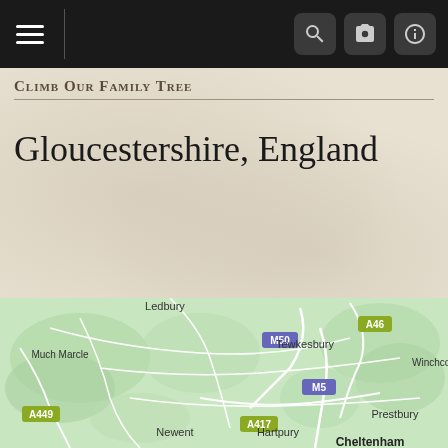Navigation bar with hamburger menu and icons
Climb Our Family Tree
Gloucestershire, England
[Figure (screenshot): Dropdown filter selector showing 'Place' with a chevron, inside a dark container with a black search bar below]
[Figure (map): Map of Gloucestershire, England showing towns including Ledbury, Much Marcle, Tewkesbury, Winchcombe, Newent, Hartpury, Prestbury, Cheltenham, and road labels M50, A46, A449, A417, M5]